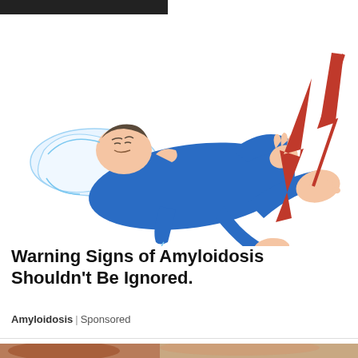[Figure (illustration): Illustration of a person lying on a pillow in blue pajamas, grimacing in pain, with a red lightning bolt symbol striking their foot/ankle area, suggesting pain or nerve discomfort associated with amyloidosis.]
Warning Signs of Amyloidosis Shouldn't Be Ignored.
Amyloidosis | Sponsored
[Figure (photo): Partial photo of a person with reddish/brown hair, cropped at bottom of page.]